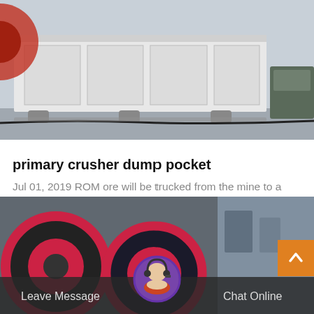[Figure (photo): Industrial machinery photo showing large white metal equipment/crusher on a factory floor with industrial equipment in background]
primary crusher dump pocket
Jul 01, 2019 ROM ore will be trucked from the mine to a ROM pad and will either be tipped directly into the primary crusher dump pocket or stockpiled on the ROM pad for…
[Figure (photo): Industrial machinery photo showing large red and black crusher wheels/rollers in a factory setting with a customer service representative avatar at the bottom]
Leave Message   Chat Online